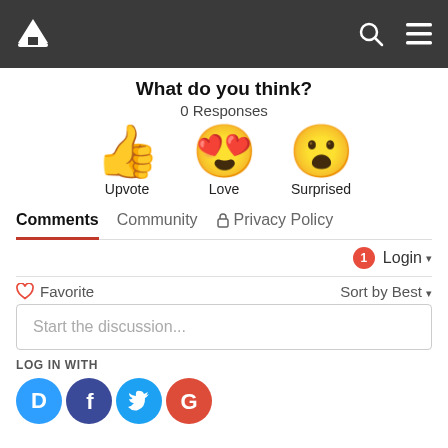[Figure (screenshot): Website navigation bar with home icon, search icon, and hamburger menu icon on dark background]
What do you think?
0 Responses
[Figure (infographic): Three reaction emoji icons: Thumbs up (Upvote), Heart-eyes smiley (Love), Surprised face (Surprised)]
Comments    Community    Privacy Policy
1  Login ▾
♡ Favorite    Sort by Best ▾
Start the discussion...
LOG IN WITH
[Figure (logo): Social login icons: Disqus (blue), Facebook (dark blue), Twitter (cyan), Google (red)]